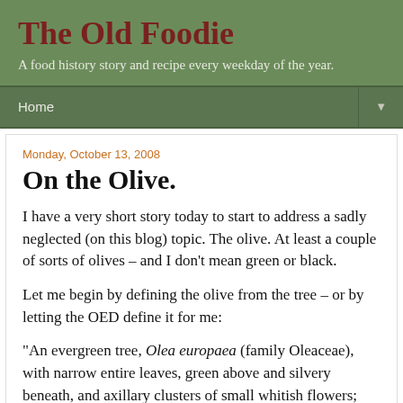The Old Foodie
A food history story and recipe every weekday of the year.
Home
Monday, October 13, 2008
On the Olive.
I have a very short story today to start to address a sadly neglected (on this blog) topic. The olive. At least a couple of sorts of olives – and I don't mean green or black.
Let me begin by defining the olive from the tree – or by letting the OED define it for me:
“An evergreen tree, Olea europaea (family Oleaceae), with narrow entire leaves, green above and silvery beneath, and axillary clusters of small whitish flowers; esp. one of the variety O. europaea var. europaea, long cultivated in the